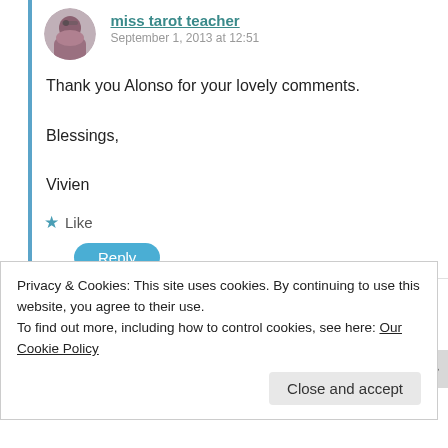[Figure (photo): Circular avatar of miss tarot teacher, a person with dark hair and glasses]
miss tarot teacher
September 1, 2013 at 12:51
Thank you Alonso for your lovely comments.

Blessings,

Vivien
★ Like
Reply
[Figure (illustration): Circular avatar of Reis, a purple cartoon character]
Reis
September 12, 2012 at 11:55
Privacy & Cookies: This site uses cookies. By continuing to use this website, you agree to their use.
To find out more, including how to control cookies, see here: Our Cookie Policy
Close and accept